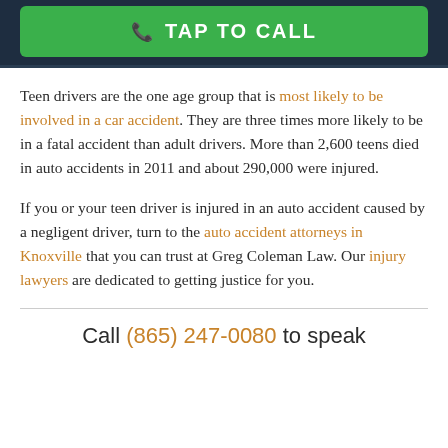[Figure (other): Green TAP TO CALL button on dark navy background header bar]
Teen drivers are the one age group that is most likely to be involved in a car accident. They are three times more likely to be in a fatal accident than adult drivers. More than 2,600 teens died in auto accidents in 2011 and about 290,000 were injured.
If you or your teen driver is injured in an auto accident caused by a negligent driver, turn to the auto accident attorneys in Knoxville that you can trust at Greg Coleman Law. Our injury lawyers are dedicated to getting justice for you.
Call (865) 247-0080 to speak